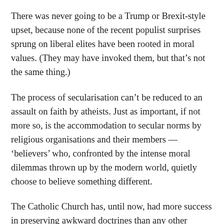There was never going to be a Trump or Brexit-style upset, because none of the recent populist surprises sprung on liberal elites have been rooted in moral values. (They may have invoked them, but that’s not the same thing.)
The process of secularisation can’t be reduced to an assault on faith by atheists. Just as important, if not more so, is the accommodation to secular norms by religious organisations and their members — ‘believers’ who, confronted by the intense moral dilemmas thrown up by the modern world, quietly choose to believe something different.
The Catholic Church has, until now, had more success in preserving awkward doctrines than any other western religious body. The problem was that everything depended on its pope.